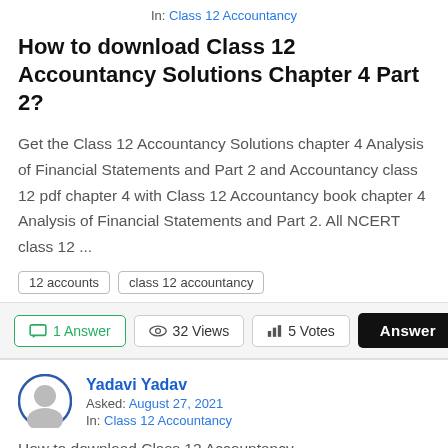In: Class 12 Accountancy
How to download Class 12 Accountancy Solutions Chapter 4 Part 2?
Get the Class 12 Accountancy Solutions chapter 4 Analysis of Financial Statements and Part 2 and Accountancy class 12 pdf chapter 4 with Class 12 Accountancy book chapter 4 Analysis of Financial Statements and Part 2. All NCERT class 12 ...
12 accounts
class 12 accountancy
1 Answer   32 Views   5 Votes   Answer
Yadavi Yadav
Asked: August 27, 2021
In: Class 12 Accountancy